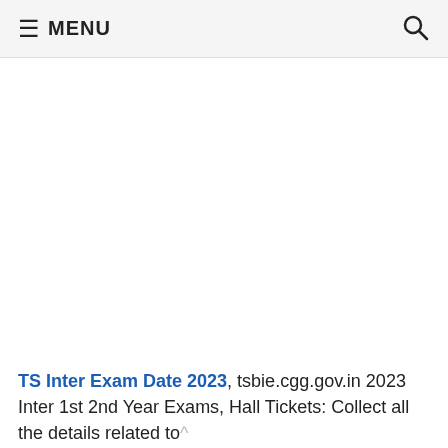≡ MENU  🔍
[Figure (other): Advertisement / blank area in the middle of the page]
TS Inter Exam Date 2023, tsbie.cgg.gov.in 2023 Inter 1st 2nd Year Exams, Hall Tickets: Collect all the details related to Telangana Intermediate Exam Routine